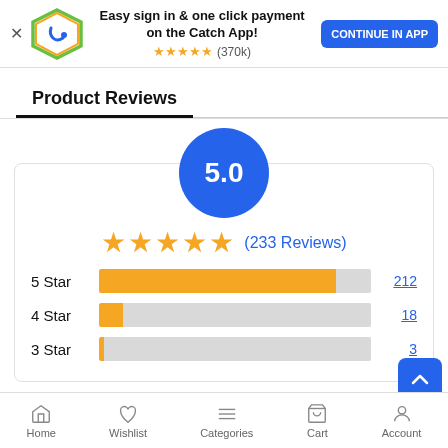[Figure (screenshot): Catch app promotion banner with logo, text 'Easy sign in & one click payment on the Catch App!', star rating (370k), and CONTINUE IN APP button]
Product Reviews
[Figure (bar-chart): Rating distribution: 5.0 overall, 233 reviews. 5 Star: 212, 4 Star: 18, 3 Star: 3]
Home  Wishlist  Categories  Cart  Account